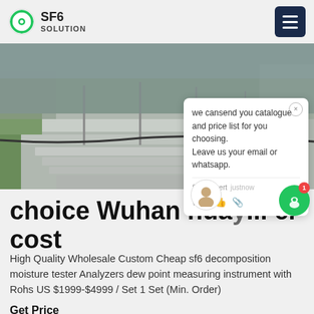SF6 SOLUTION
[Figure (photo): Outdoor industrial site showing concrete pathways with cables and poles, green grass areas, and infrastructure equipment in the background.]
choice Wuhan huay... er cost
High Quality Wholesale Custom Cheap sf6 decomposition moisture tester Analyzers dew point measuring instrument with Rohs US $1999-$4999 / Set 1 Set (Min. Order)
Get Price